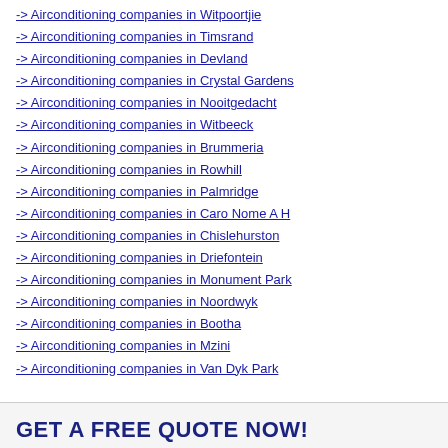-> Airconditioning companies in Witpoortjie
-> Airconditioning companies in Timsrand
-> Airconditioning companies in Devland
-> Airconditioning companies in Crystal Gardens
-> Airconditioning companies in Nooitgedacht
-> Airconditioning companies in Witbeeck
-> Airconditioning companies in Brummeria
-> Airconditioning companies in Rowhill
-> Airconditioning companies in Palmridge
-> Airconditioning companies in Caro Nome A H
-> Airconditioning companies in Chislehurston
-> Airconditioning companies in Driefontein
-> Airconditioning companies in Monument Park
-> Airconditioning companies in Noordwyk
-> Airconditioning companies in Bootha
-> Airconditioning companies in Mzini
-> Airconditioning companies in Van Dyk Park
GET A FREE QUOTE NOW!
Your name: *